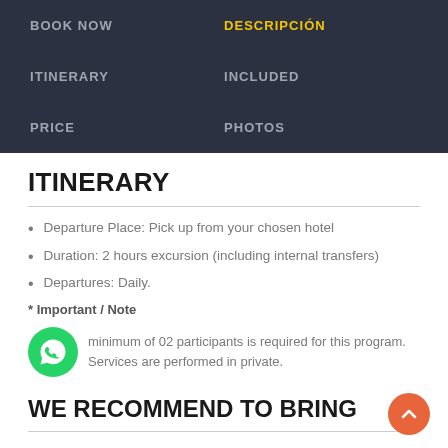BOOK NOW | DESCRIPCIÓN | ITINERARY | INCLUDED | PRICE | PHOTOS
ITINERARY
Departure Place: Pick up from your chosen hotel
Duration: 2 hours excursion (including internal transfers)
Departures: Daily.
* Important / Note
minimum of 02 participants is required for this program. Services are performed in private.
WE RECOMMEND TO BRING